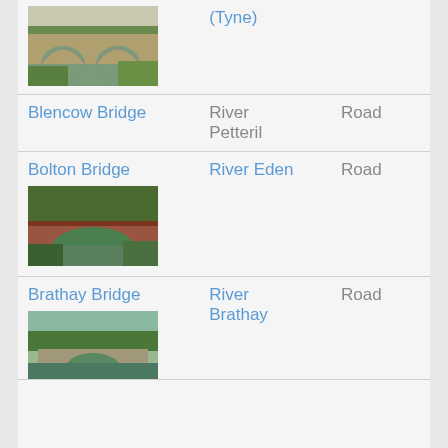| Name | River | Type |
| --- | --- | --- |
| (Tyne) |  |  |
| Blencow Bridge | River Petteril | Road |
| Bolton Bridge | River Eden | Road |
| Brathay Bridge | River Brathay | Road |